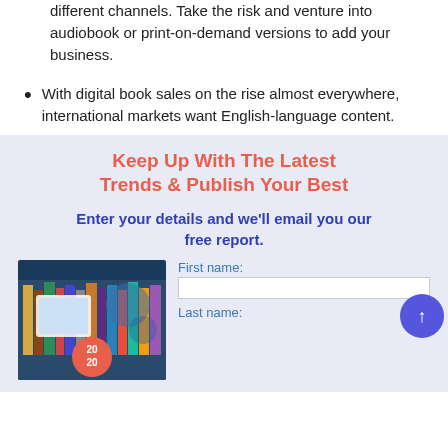Maximize your selling potential by selling on different channels. Take the risk and venture into audiobook or print-on-demand versions to add your business.
With digital book sales on the rise almost everywhere, international markets want English-language content.
Keep Up With The Latest Trends & Publish Your Best
Enter your details and we'll email you our free report.
[Figure (photo): Books on a shelf with a tablet device and a 2020 badge overlay]
First name:
Last name: